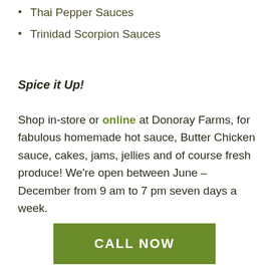Thai Pepper Sauces
Trinidad Scorpion Sauces
Spice it Up!
Shop in-store or online at Donoray Farms, for fabulous homemade hot sauce, Butter Chicken sauce, cakes, jams, jellies and of course fresh produce! We're open between June – December from 9 am to 7 pm seven days a week.
CALL NOW